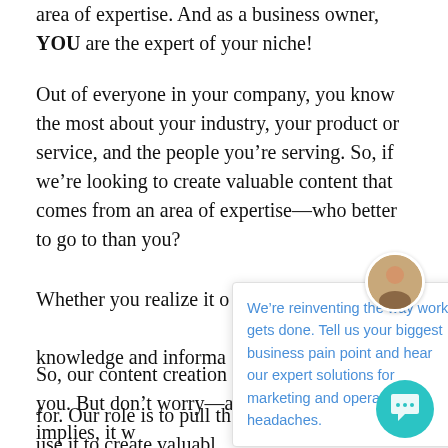area of expertise. And as a business owner, YOU are the expert of your niche!
Out of everyone in your company, you know the most about your industry, your product or service, and the people you’re serving. So, if we’re looking to create valuable content that comes from an area of expertise—who better to go to than you?
Whether you realize it or not, you have a wealth of knowledge and information that people are searching for. Our role is to pull that from you and then use it to create valuable content.
[Figure (other): Chat popup widget overlay with avatar photo of a blonde woman, close X button, and text: We’re reinventing the way work gets done. Tell us your biggest business pain point and hear our expert solutions for marketing and operational headaches.]
So, our content creation process starts with you. But don’t worry—as the title of this post implies, it won’t take up much of your time.